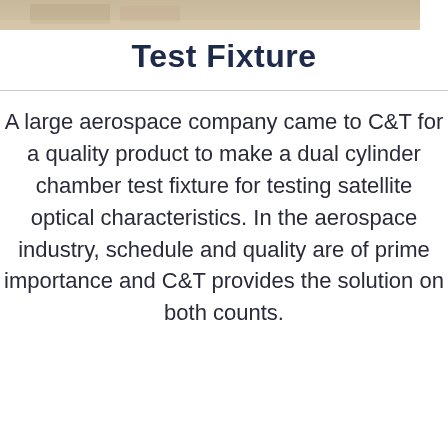[Figure (photo): Partial view of a test fixture or aerospace component, cropped at the top of the page]
Test Fixture
A large aerospace company came to C&T for a quality product to make a dual cylinder chamber test fixture for testing satellite optical characteristics. In the aerospace industry, schedule and quality are of prime importance and C&T provides the solution on both counts.